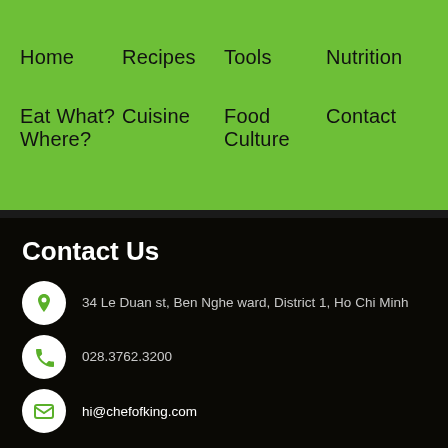Home
Recipes
Tools
Nutrition
Eat What? Where?
Cuisine
Food Culture
Contact
Contact Us
34 Le Duan st, Ben Nghe ward, District 1, Ho Chi Minh
028.3762.3200
hi@chefofking.com